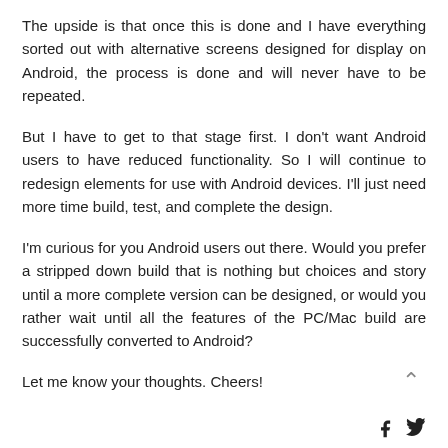The upside is that once this is done and I have everything sorted out with alternative screens designed for display on Android, the process is done and will never have to be repeated.
But I have to get to that stage first. I don't want Android users to have reduced functionality. So I will continue to redesign elements for use with Android devices. I'll just need more time build, test, and complete the design.
I'm curious for you Android users out there. Would you prefer a stripped down build that is nothing but choices and story until a more complete version can be designed, or would you rather wait until all the features of the PC/Mac build are successfully converted to Android?
Let me know your thoughts. Cheers!